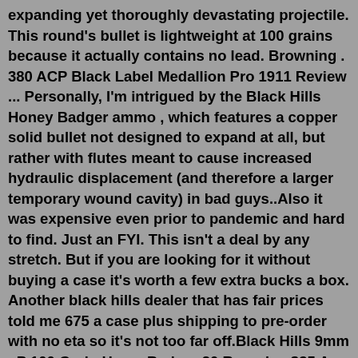expanding yet thoroughly devastating projectile. This round's bullet is lightweight at 100 grains because it actually contains no lead. Browning . 380 ACP Black Label Medallion Pro 1911 Review ... Personally, I'm intrigued by the Black Hills Honey Badger ammo , which features a copper solid bullet not designed to expand at all, but rather with flutes meant to cause increased hydraulic displacement (and therefore a larger temporary wound cavity) in bad guys..Also it was expensive even prior to pandemic and hard to find. Just an FYI. This isn't a deal by any stretch. But if you are looking for it without buying a case it's worth a few extra bucks a box. Another black hills dealer that has fair prices told me 675 a case plus shipping to pre-order with no eta so it's not too far off.Black Hills 9mm +P 100 Grain HoneyBadger 20 Rounds - $35 A hollow point projectile's efficacy for self-defense is indisputable -- that it has been banned in warfare by the Hague Declaration for being too nasty is proof enough of it. Where a hollow point may